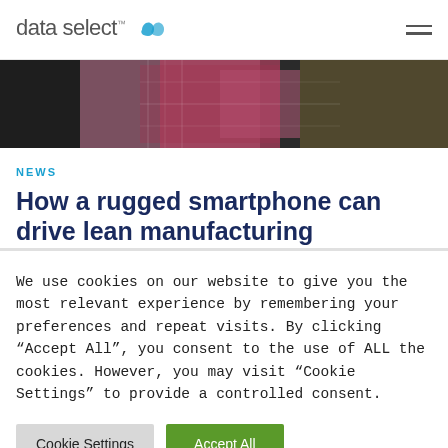data select
[Figure (photo): A partial photograph showing a person wearing a red plaid shirt, with dark machinery/equipment visible in the background, suggesting an industrial or manufacturing environment.]
NEWS
How a rugged smartphone can drive lean manufacturing
We use cookies on our website to give you the most relevant experience by remembering your preferences and repeat visits. By clicking “Accept All”, you consent to the use of ALL the cookies. However, you may visit "Cookie Settings" to provide a controlled consent.